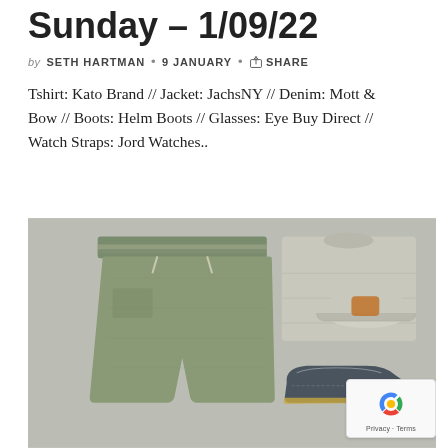Sunday – 1/09/22
by SETH HARTMAN • 9 JANUARY • SHARE
Tshirt: Kato Brand // Jacket: JachsNY // Denim: Mott & Bow // Boots: Helm Boots // Glasses: Eye Buy Direct // Watch Straps: Jord Watches..
[Figure (photo): Flat lay photo of men's clothing items including olive green shorts with elastic waistband, a folded light grey t-shirt, a light grey baseball cap with tan patch, and dark blue suede loafer shoes arranged on a grey surface.]